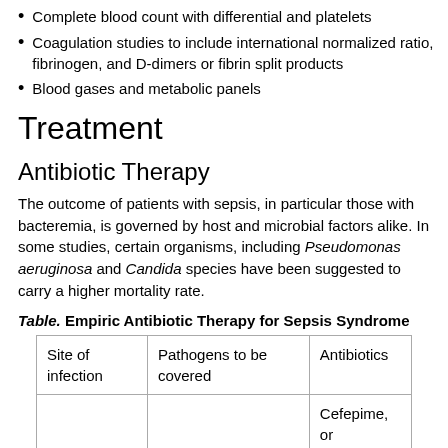Complete blood count with differential and platelets
Coagulation studies to include international normalized ratio, fibrinogen, and D-dimers or fibrin split products
Blood gases and metabolic panels
Treatment
Antibiotic Therapy
The outcome of patients with sepsis, in particular those with bacteremia, is governed by host and microbial factors alike. In some studies, certain organisms, including Pseudomonas aeruginosa and Candida species have been suggested to carry a higher mortality rate.
Table. Empiric Antibiotic Therapy for Sepsis Syndrome
| Site of infection | Pathogens to be covered | Antibiotics |
| --- | --- | --- |
|  |  | Cefepime, or
ticillin-b... |